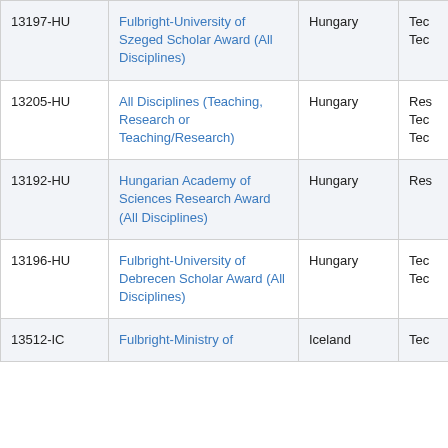| ID | Award Name | Country | Type (truncated) |
| --- | --- | --- | --- |
| 13197-HU | Fulbright-University of Szeged Scholar Award (All Disciplines) | Hungary | Tec / Tec |
| 13205-HU | All Disciplines (Teaching, Research or Teaching/Research) | Hungary | Res / Tec / Tec |
| 13192-HU | Hungarian Academy of Sciences Research Award (All Disciplines) | Hungary | Res |
| 13196-HU | Fulbright-University of Debrecen Scholar Award (All Disciplines) | Hungary | Tec / Tec |
| 13512-IC | Fulbright-Ministry of... | Iceland | Tec |